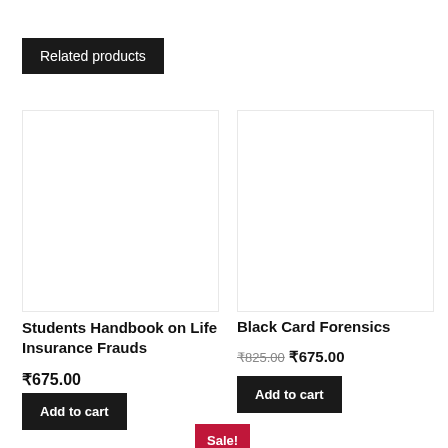Related products
[Figure (photo): Product image placeholder for Students Handbook on Life Insurance Frauds]
Students Handbook on Life Insurance Frauds
₹675.00
Add to cart
Sale!
[Figure (photo): Product image placeholder for Black Card Forensics]
Black Card Forensics
₹825.00  ₹675.00
Add to cart
Sale!